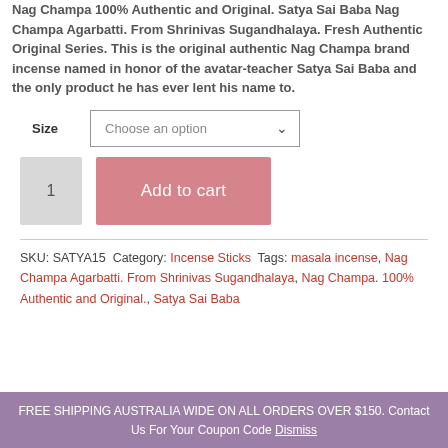Nag Champa 100% Authentic and Original. Satya Sai Baba Nag Champa Agarbatti. From Shrinivas Sugandhalaya. Fresh Authentic Original Series. This is the original authentic Nag Champa brand incense named in honor of the avatar-teacher Satya Sai Baba and the only product he has ever lent his name to.
Size: Choose an option
1 [quantity] | Add to cart
SKU: SATYA15 Category: Incense Sticks Tags: masala incense, Nag Champa Agarbatti. From Shrinivas Sugandhalaya, Nag Champa. 100% Authentic and Original., Satya Sai Baba
FREE SHIPPING AUSTRALIA WIDE ON ALL ORDERS OVER $150. Contact Us For Your Coupon Code Dismiss